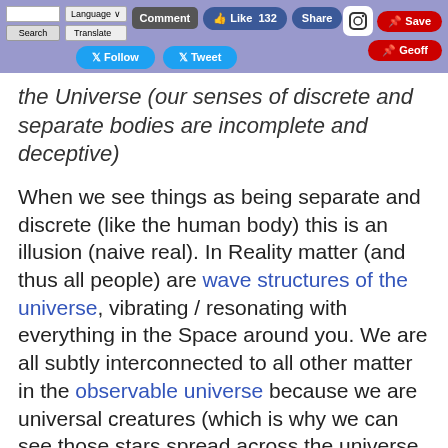Navigation bar with Search, Language, Translate, Comment, Like 132, Share, Follow, Tweet, Instagram, Save, Geoff buttons
the Universe (our senses of discrete and separate bodies are incomplete and deceptive)
When we see things as being separate and discrete (like the human body) this is an illusion (naive real). In Reality matter (and thus all people) are wave structures of the universe, vibrating / resonating with everything in the Space around you. We are all subtly interconnected to all other matter in the observable universe because we are universal creatures (which is why we can see those stars spread across the universe, because we are a part of them, they a part of us). Thus seeing our bodies as discrete and separate objects is an an illusion of our limited senses (as representations of the mind).